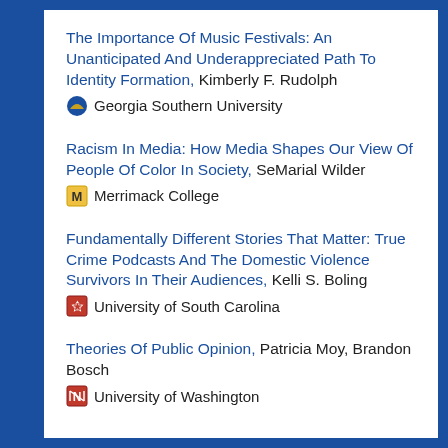The Importance Of Music Festivals: An Unanticipated And Underappreciated Path To Identity Formation, Kimberly F. Rudolph — Georgia Southern University
Racism In Media: How Media Shapes Our View Of People Of Color In Society, SeMarial Wilder — Merrimack College
Fundamentally Different Stories That Matter: True Crime Podcasts And The Domestic Violence Survivors In Their Audiences, Kelli S. Boling — University of South Carolina
Theories Of Public Opinion, Patricia Moy, Brandon Bosch — University of Washington